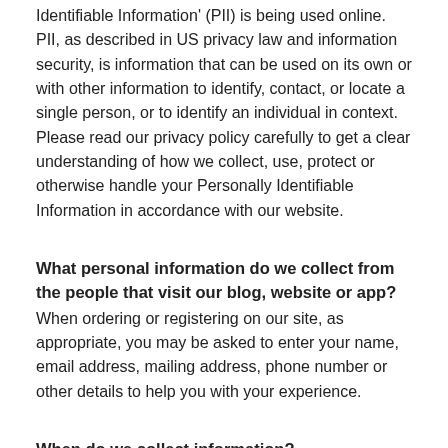Identifiable Information' (PII) is being used online. PII, as described in US privacy law and information security, is information that can be used on its own or with other information to identify, contact, or locate a single person, or to identify an individual in context. Please read our privacy policy carefully to get a clear understanding of how we collect, use, protect or otherwise handle your Personally Identifiable Information in accordance with our website.
What personal information do we collect from the people that visit our blog, website or app?
When ordering or registering on our site, as appropriate, you may be asked to enter your name, email address, mailing address, phone number or other details to help you with your experience.
When do we collect information?
We collect information from you when you fill out a form